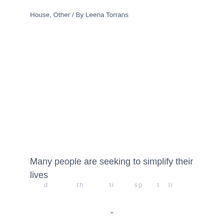House, Other / By Leena Torrans
Many people are seeking to simplify their lives
and reduce the time spent in maintaining a...